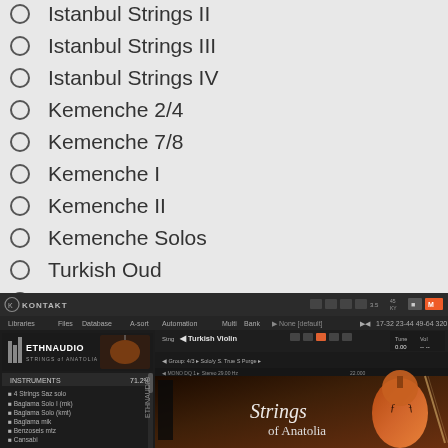Istanbul Strings II
Istanbul Strings III
Istanbul Strings IV
Kemenche 2/4
Kemenche 7/8
Kemenche I
Kemenche II
Kemenche Solos
Turkish Oud
Turkish Kanoun
Turkish Violin
[Figure (screenshot): Kontakt plugin interface showing Strings of Anatolia by Ethnaudio, with Turkish Violin instrument loaded, displaying instrument list on left and Strings of Anatolia branding on right]